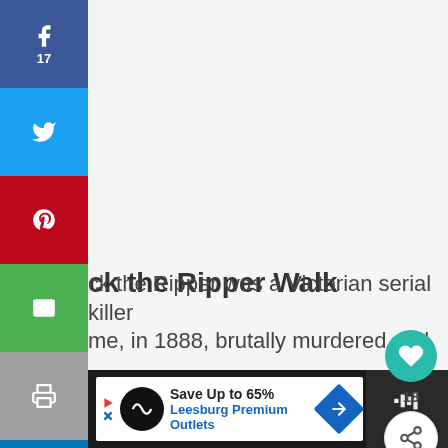[Figure (screenshot): Social media share sidebar with Facebook (17 shares), Twitter, Pinterest, Email, Print, LinkedIn, Reddit, WhatsApp, Buffer, Mix buttons on left side]
[Figure (infographic): Floating heart (like) button showing count of 18 and a share button on right side]
ck the Ripper Walk
ck the Ripper was a Victorian serial killer me, in 1888, brutally murdered and
[Figure (screenshot): Advertisement banner: Save Up to 65% - Leesburg Premium Outlets]
17 SHARE